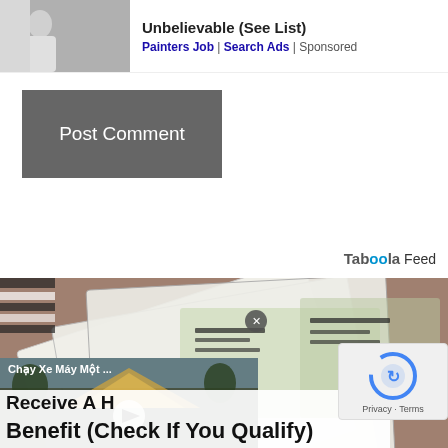[Figure (screenshot): Ad banner with person standing near wall and text 'Unbelievable (See List)']
Painters Job | Search Ads | Sponsored
[Figure (screenshot): Post Comment button — dark grey rectangle]
Taboola Feed
[Figure (screenshot): Large composite image with fanned currency notes, overlaid video thumbnail of temple (Chạy Xe Máy Một ...) with play button and close X, and text overlay 'Receive A H... Benefit (Check If You Qualify)']
[Figure (screenshot): reCAPTCHA privacy badge bottom right — Privacy · Terms]